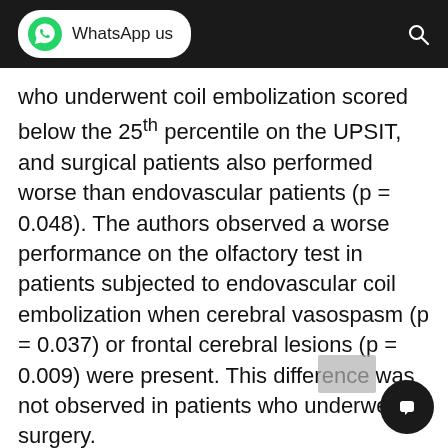WhatsApp us
who underwent coil embolization scored below the 25th percentile on the UPSIT, and surgical patients also performed worse than endovascular patients (p = 0.048). The authors observed a worse performance on the olfactory test in patients subjected to endovascular coil embolization when cerebral vasospasm (p = 0.037) or frontal cerebral lesions (p = 0.009) were present. This difference was not observed in patients who underwent surgery.
Conclusions: Olfactory disorders after SAH caused by rupture of the ACoA are very frequent and were present in both treatment